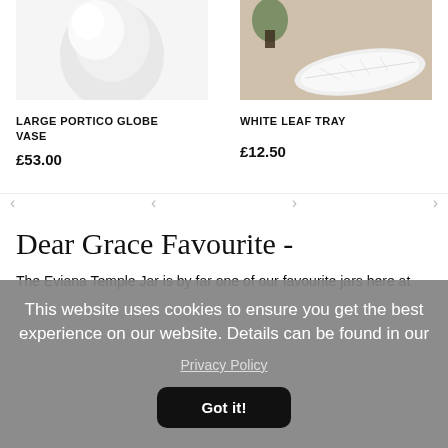[Figure (photo): Large white marble globe vase, partial view from above]
LARGE PORTICO GLOBE VASE
£53.00
[Figure (photo): White leaf-shaped tray on wooden surface with plant in background]
WHITE LEAF TRAY
£12.50
Dear Grace Favourite -
The Eviana Temple Jar is by far one of our favourite jars here at
This website uses cookies to ensure you get the best experience on our website. Details can be found in our
Privacy Policy
Got it!